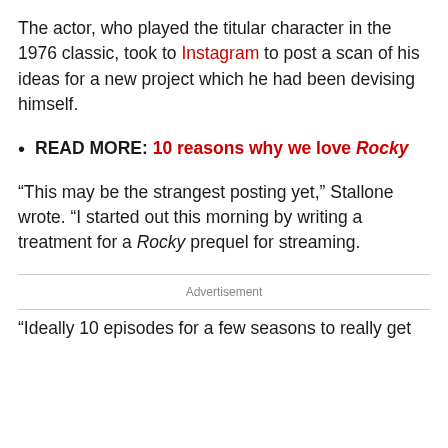The actor, who played the titular character in the 1976 classic, took to Instagram to post a scan of his ideas for a new project which he had been devising himself.
READ MORE: 10 reasons why we love Rocky
“This may be the strangest posting yet,” Stallone wrote. “I started out this morning by writing a treatment for a Rocky prequel for streaming.
Advertisement
“Ideally 10 episodes for a few seasons to really get